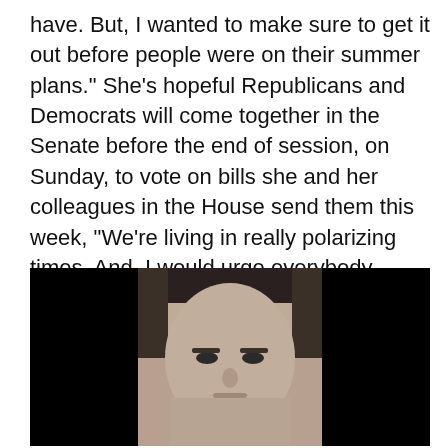have. But, I wanted to make sure to get it out before people were on their summer plans." She's hopeful Republicans and Democrats will come together in the Senate before the end of session, on Sunday, to vote on bills she and her colleagues in the House send them this week, "We're living in really polarizing times. And, I would urge everybody that's listening to think more towards 'how do we get more towards compromise and to the center?' because that, I think, is really where legislation should be."
[Figure (photo): Mugshot-style photograph of a man with short dark hair, facing forward, against a dark/black background on left and right sides.]